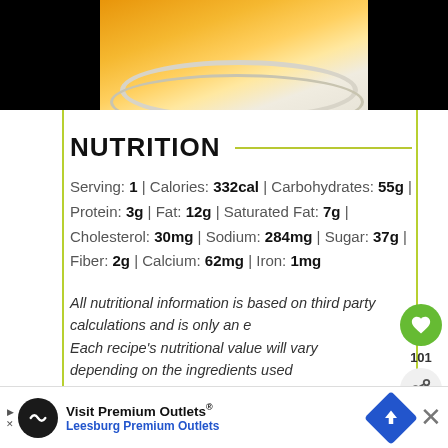[Figure (photo): Food photo showing a dish with peaches/orange food in a white bowl, black background on sides]
NUTRITION
Serving: 1 | Calories: 332cal | Carbohydrates: 55g | Protein: 3g | Fat: 12g | Saturated Fat: 7g | Cholesterol: 30mg | Sodium: 284mg | Sugar: 37g | Fiber: 2g | Calcium: 62mg | Iron: 1mg
All nutritional information is based on third party calculations and is only an e[stimate]. Each recipe's nutritional value will vary depending on the ingredients used
WHAT'S NEXT → Dump Cake with Peach +...
[Figure (screenshot): Advertisement bar: Visit Premium Outlets® Leesburg Premium Outlets]